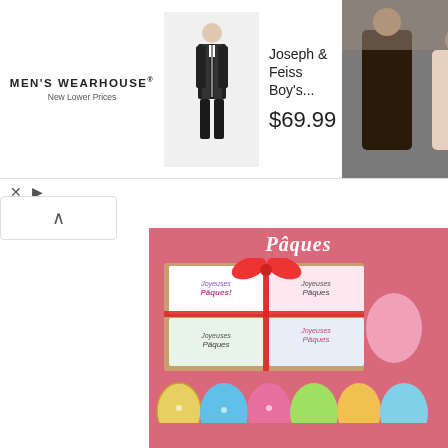[Figure (screenshot): Men's Wearhouse advertisement banner showing a boy in a suit, Joseph & Feiss Boy's suit for $69.99, and a wedding couple photo]
[Figure (screenshot): Pâques (Easter) themed content section with pink background showing Easter gift boxes with red ribbon decorated with 'Joyeuses Pâques' text, colorful Easter eggs banner, and small Easter-themed gift boxes]